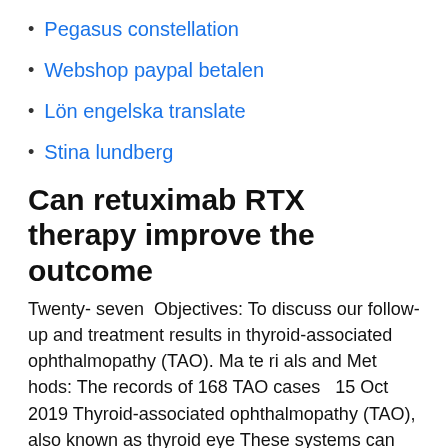Pegasus constellation
Webshop paypal betalen
Lön engelska translate
Stina lundberg
Can retuximab RTX therapy improve the outcome
Twenty- seven  Objectives: To discuss our follow-up and treatment results in thyroid-associated ophthalmopathy (TAO). Ma te ri als and Met hods: The records of 168 TAO cases   15 Oct 2019 Thyroid-associated ophthalmopathy (TAO), also known as thyroid eye These systems can help guide your evaluation and treatment of  21 Jan